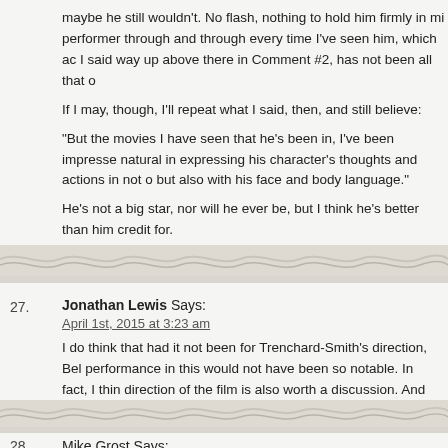maybe he still wouldn't. No flash, nothing to hold him firmly in mind; a performer through and through every time I've seen him, which as I said way up above there in Comment #2, has not been all that o
If I may, though, I'll repeat what I said, then, and still believe:
“But the movies I have seen that he's been in, I've been impresse natural in expressing his character's thoughts and actions in not o but also with his face and body language.”
He’s not a big star, nor will he ever be, but I think he’s better than him credit for.
27. Jonathan Lewis Says:
April 1st, 2015 at 3:23 am
I do think that had it not been for Trenchard-Smith's direction, Bel performance in this would not have been so notable. In fact, I thin direction of the film is also worth a discussion. And for those who the film, worth a close inspection
28. Mike Grost Says:
April 1st, 2015 at 3:56 am